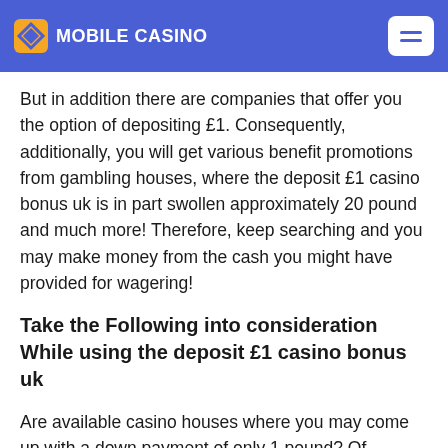MOBILE CASINO
But in addition there are companies that offer you the option of depositing £1. Consequently, additionally, you will get various benefit promotions from gambling houses, where the deposit £1 casino bonus uk is in part swollen approximately 20 pound and much more! Therefore, keep searching and you may make money from the cash you might have provided for wagering!
Take the Following into consideration While using the deposit £1 casino bonus uk
Are available casino houses where you may come up with a down payment of only 1 pound? Of course! It's simply not that readily available. On the whole, you can find out what the bare minimum deposit at a casino is just if you make an account there. Alternatively, you are able to get in touch with the individual service to get this information out and in addition, precisely what is on top of this within the internet